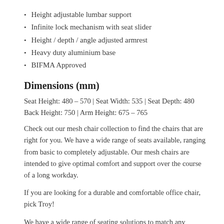Height adjustable lumbar support
Infinite lock mechanism with seat slider
Height / depth / angle adjusted armrest
Heavy duty aluminium base
BIFMA Approved
Dimensions (mm)
Seat Height: 480 – 570 | Seat Width: 535 | Seat Depth: 480
Back Height: 750 | Arm Height: 675 – 765
Check out our mesh chair collection to find the chairs that are right for you. We have a wide range of seats available, ranging from basic to completely adjustable. Our mesh chairs are intended to give optimal comfort and support over the course of a long workday.
If you are looking for a durable and comfortable office chair, pick Troy!
We have a wide range of seating solutions to match any aesthetic and function needs. Contact